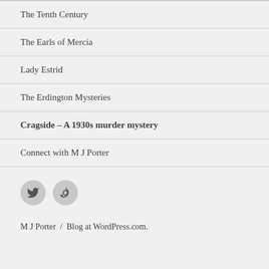The Tenth Century
The Earls of Mercia
Lady Estrid
The Erdington Mysteries
Cragside – A 1930s murder mystery
Connect with M J Porter
[Figure (other): Social media icons: Twitter bird icon and a circular arrow/Goodreads icon, each inside a grey circle]
M J Porter  /  Blog at WordPress.com.